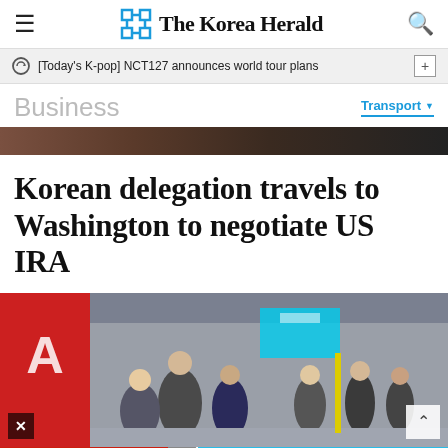The Korea Herald
[Today's K-pop] NCT127 announces world tour plans
Business
Transport
[Figure (photo): Partial photo strip of an indoor scene (brown/dark tones), likely an airport interior]
Korean delegation travels to Washington to negotiate US IRA
[Figure (photo): Airport terminal scene with crowds of travelers, a red airline banner on the left, people queuing and walking through the terminal]
[Figure (other): BitLife mobile game advertisement banner at the bottom of the page, with 'Murder Do it!' text on blue background]